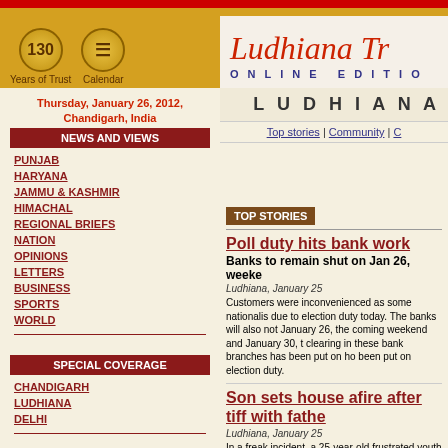Ludhiana Tribune Online Edition — 130 Years of Trust — Calendar
Thursday, January 26, 2012, Chandigarh, India
NEWS AND VIEWS
PUNJAB
HARYANA
JAMMU & KASHMIR
HIMACHAL
REGIONAL BRIEFS
NATION
OPINIONS
LETTERS
BUSINESS
SPORTS
WORLD
SPECIAL COVERAGE
CHANDIGARH
LUDHIANA
DELHI
LUDHIANA
Top stories | Community | C
TOP STORIES
Poll duty hits bank work
Banks to remain shut on Jan 26, weeke
Ludhiana, January 25
Customers were inconvenienced as some nationalis due to election duty today. The banks will also not January 26, the coming weekend and January 30, t clearing in these bank branches has been put on ho been put on election duty.
Son sets house afire after tiff with fathe
Ludhiana, January 25
In a freak incident, a 25-year-old frustrated youth t